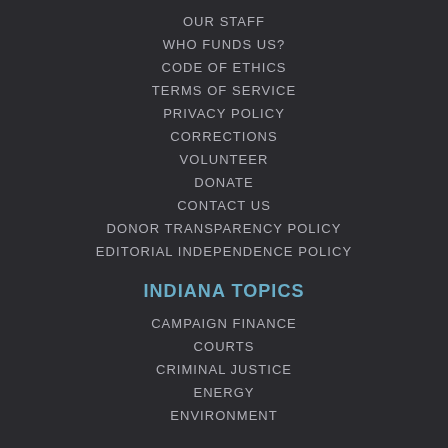OUR STAFF
WHO FUNDS US?
CODE OF ETHICS
TERMS OF SERVICE
PRIVACY POLICY
CORRECTIONS
VOLUNTEER
DONATE
CONTACT US
DONOR TRANSPARENCY POLICY
EDITORIAL INDEPENDENCE POLICY
INDIANA TOPICS
CAMPAIGN FINANCE
COURTS
CRIMINAL JUSTICE
ENERGY
ENVIRONMENT